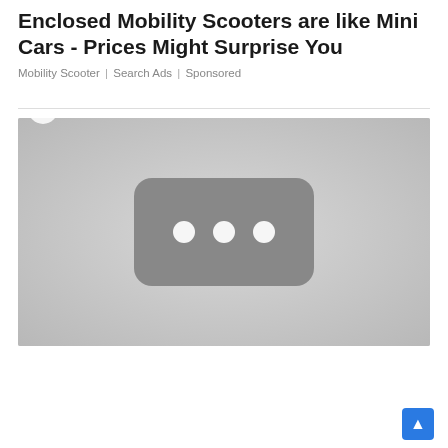Enclosed Mobility Scooters are like Mini Cars - Prices Might Surprise You
Mobility Scooter | Search Ads | Sponsored
[Figure (photo): Loading placeholder image with a dark rounded rectangle containing three white dots on a light grey background, representing a loading state for a mobility scooter advertisement image]